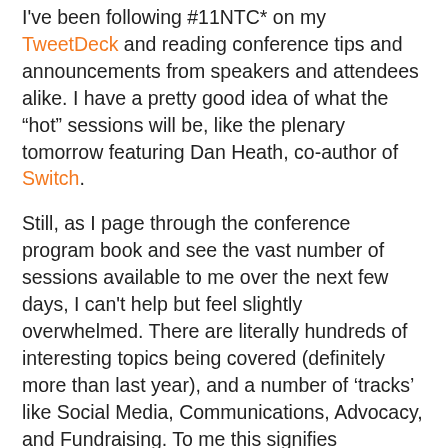I've been following #11NTC* on my TweetDeck and reading conference tips and announcements from speakers and attendees alike. I have a pretty good idea of what the “hot” sessions will be, like the plenary tomorrow featuring Dan Heath, co-author of Switch.
Still, as I page through the conference program book and see the vast number of sessions available to me over the next few days, I can't help but feel slightly overwhelmed. There are literally hundreds of interesting topics being covered (definitely more than last year), and a number of ‘tracks’ like Social Media, Communications, Advocacy, and Fundraising. To me this signifies